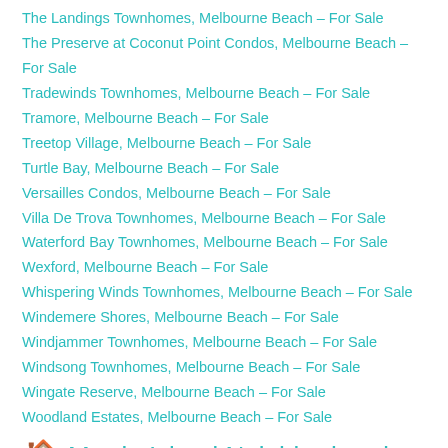The Landings Townhomes, Melbourne Beach – For Sale
The Preserve at Coconut Point Condos, Melbourne Beach – For Sale
Tradewinds Townhomes, Melbourne Beach – For Sale
Tramore, Melbourne Beach – For Sale
Treetop Village, Melbourne Beach – For Sale
Turtle Bay, Melbourne Beach – For Sale
Versailles Condos, Melbourne Beach – For Sale
Villa De Trova Townhomes, Melbourne Beach – For Sale
Waterford Bay Townhomes, Melbourne Beach – For Sale
Wexford, Melbourne Beach – For Sale
Whispering Winds Townhomes, Melbourne Beach – For Sale
Windemere Shores, Melbourne Beach – For Sale
Windjammer Townhomes, Melbourne Beach – For Sale
Windsong Townhomes, Melbourne Beach – For Sale
Wingate Reserve, Melbourne Beach – For Sale
Woodland Estates, Melbourne Beach – For Sale
🏠 Merritt Island Neighborhoods
Cape Crossing Resort and Marina, Merritt Island – For Sale
Egret's Cove, Merritt Island – For Sale